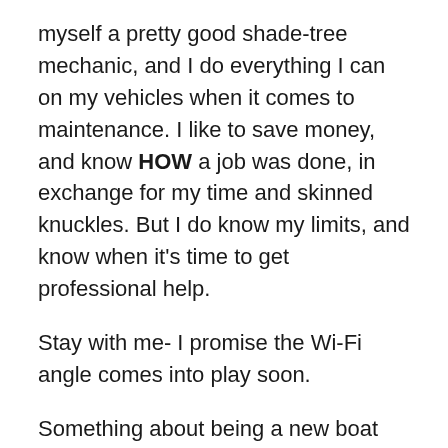myself a pretty good shade-tree mechanic, and I do everything I can on my vehicles when it comes to maintenance. I like to save money, and know HOW a job was done, in exchange for my time and skinned knuckles. But I do know my limits, and know when it's time to get professional help.
Stay with me- I promise the Wi-Fi angle comes into play soon.
Something about being a new boat owner made me kind of silly. Every oddball problem this old boat has had seemed exotic somehow, until very recently. After all, every part on the thing is a "marine" component. It has a marine carburetor, a marine ignition system, a marine gearshift, etc. Which for a while made me think that somehow they were all forged by unicorns in Magic